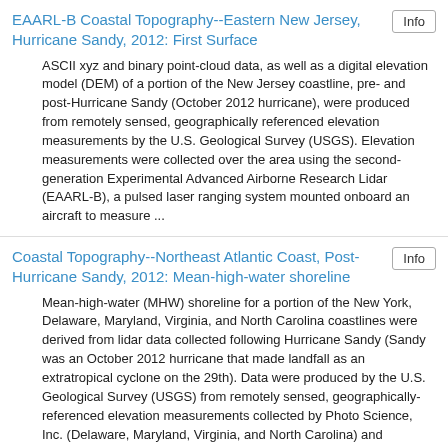EAARL-B Coastal Topography--Eastern New Jersey, Hurricane Sandy, 2012: First Surface
ASCII xyz and binary point-cloud data, as well as a digital elevation model (DEM) of a portion of the New Jersey coastline, pre- and post-Hurricane Sandy (October 2012 hurricane), were produced from remotely sensed, geographically referenced elevation measurements by the U.S. Geological Survey (USGS). Elevation measurements were collected over the area using the second-generation Experimental Advanced Airborne Research Lidar (EAARL-B), a pulsed laser ranging system mounted onboard an aircraft to measure ...
Coastal Topography--Northeast Atlantic Coast, Post-Hurricane Sandy, 2012: Mean-high-water shoreline
Mean-high-water (MHW) shoreline for a portion of the New York, Delaware, Maryland, Virginia, and North Carolina coastlines were derived from lidar data collected following Hurricane Sandy (Sandy was an October 2012 hurricane that made landfall as an extratropical cyclone on the 29th). Data were produced by the U.S. Geological Survey (USGS) from remotely sensed, geographically-referenced elevation measurements collected by Photo Science, Inc. (Delaware, Maryland, Virginia, and North Carolina) and Woolpert, ...